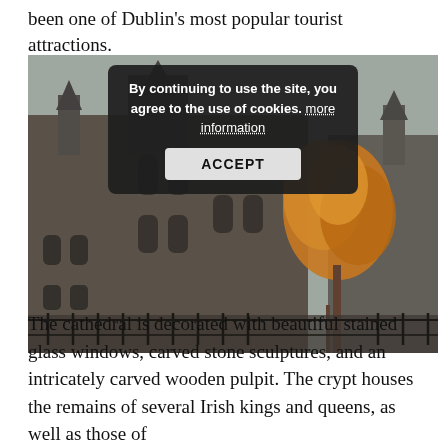been one of Dublin's most popular tourist attractions.
[Figure (photo): Photograph of a large Gothic stone cathedral with pointed spires and arched windows. An autumn tree with orange/yellow foliage is visible to the right. A cookie consent overlay reads: 'By continuing to use the site, you agree to the use of cookies. more information' with an ACCEPT button.]
The cathedral is decorated with beautiful stained glass windows, carved stone sculptures, and an intricately carved wooden pulpit. The crypt houses the remains of several Irish kings and queens, as well as those of